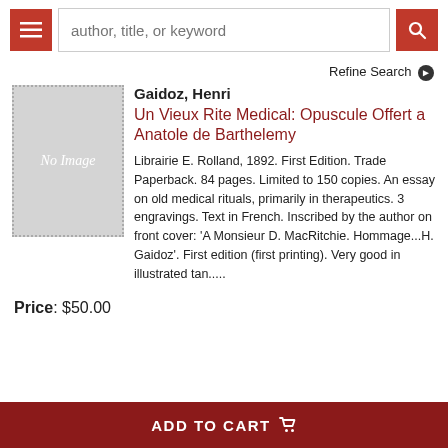author, title, or keyword
Refine Search
[Figure (other): Book cover placeholder showing 'No Image' text on grey background with dotted border]
Gaidoz, Henri
Un Vieux Rite Medical: Opuscule Offert a Anatole de Barthelemy
Librairie E. Rolland, 1892. First Edition. Trade Paperback. 84 pages. Limited to 150 copies. An essay on old medical rituals, primarily in therapeutics. 3 engravings. Text in French. Inscribed by the author on front cover: 'A Monsieur D. MacRitchie. Hommage...H. Gaidoz'. First edition (first printing). Very good in illustrated tan.....
Price: $50.00
ADD TO CART